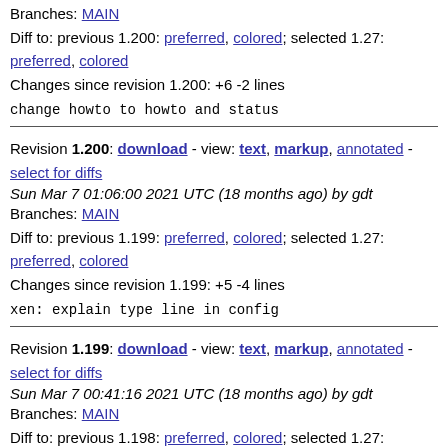Branches: MAIN
Diff to: previous 1.200: preferred, colored; selected 1.27: preferred, colored
Changes since revision 1.200: +6 -2 lines
change howto to howto and status
Revision 1.200: download - view: text, markup, annotated - select for diffs
Sun Mar 7 01:06:00 2021 UTC (18 months ago) by gdt
Branches: MAIN
Diff to: previous 1.199: preferred, colored; selected 1.27: preferred, colored
Changes since revision 1.199: +5 -4 lines
xen: explain type line in config
Revision 1.199: download - view: text, markup, annotated - select for diffs
Sun Mar 7 00:41:16 2021 UTC (18 months ago) by gdt
Branches: MAIN
Diff to: previous 1.198: preferred, colored; selected 1.27: preferred, colored
Changes since revision 1.198: +4 -3 lines
xen: Clarify HVM/PVHVM not making sense for dom0